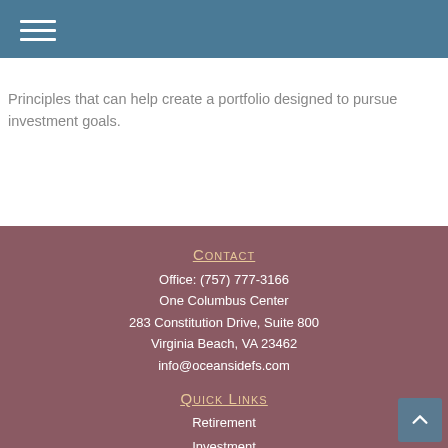≡ (navigation menu icon)
Principles that can help create a portfolio designed to pursue investment goals.
Contact
Office: (757) 777-3166
One Columbus Center
283 Constitution Drive, Suite 800
Virginia Beach, VA 23462
info@oceansidefs.com
Quick Links
Retirement
Investment